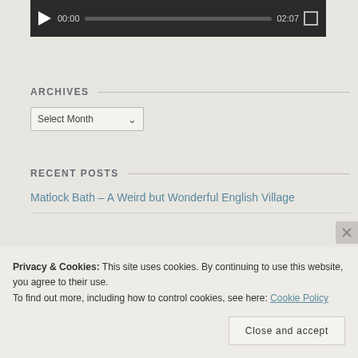[Figure (screenshot): Video player control bar with play button, 00:00 timestamp, progress bar, 02:07 duration, and fullscreen button on dark background]
ARCHIVES
[Figure (screenshot): Dropdown select menu showing 'Select Month' with chevron arrow]
RECENT POSTS
Matlock Bath – A Weird but Wonderful English Village
Privacy & Cookies: This site uses cookies. By continuing to use this website, you agree to their use.
To find out more, including how to control cookies, see here: Cookie Policy
Close and accept